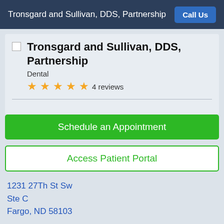Tronsgard and Sullivan, DDS, Partnership | Call Us
Tronsgard and Sullivan, DDS, Partnership
Dental
★★★★★ 4 reviews
Schedule an Appointment
Access Patient Portal
1231 27Th St Sw
Ste C
Fargo, ND 58103
(701) 232-6983
https://www.tronsgardsullivan.com/